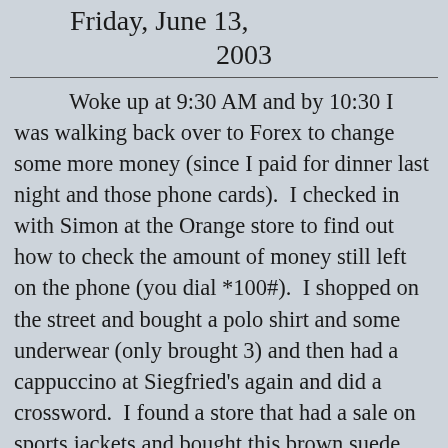Friday, June 13, 2003
Woke up at 9:30 AM and by 10:30 I was walking back over to Forex to change some more money (since I paid for dinner last night and those phone cards).  I checked in with Simon at the Orange store to find out how to check the amount of money still left on the phone (you dial *100#).  I shopped on the street and bought a polo shirt and some underwear (only brought 3) and then had a cappuccino at Siegfried's again and did a crossword.  I found a store that had a sale on sports jackets and bought this brown suede looking thing as well as two more polo shirts.  I also bought a soft Eis (ice cream)